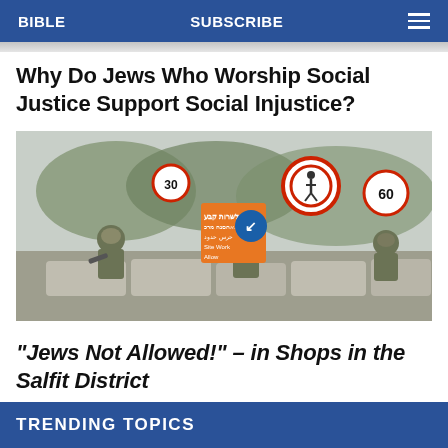BIBLE   SUBSCRIBE   ☰
Why Do Jews Who Worship Social Justice Support Social Injustice?
[Figure (photo): Military soldiers in camouflage gear positioned behind concrete barriers at a checkpoint, with road signs including a speed limit sign (60) and multilingual notices.]
"Jews Not Allowed!" – in Shops in the Salfit District
TRENDING TOPICS